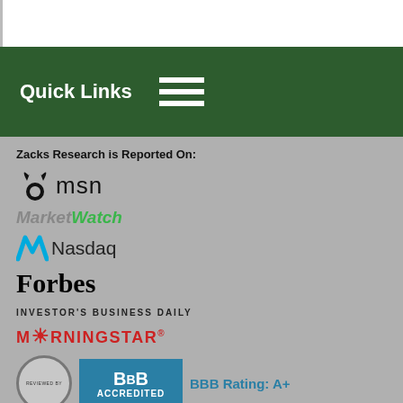Quick Links
Zacks Research is Reported On:
[Figure (logo): MSN logo with butterfly icon and 'msn' text]
[Figure (logo): MarketWatch logo in italic with Market in gray and Watch in green]
[Figure (logo): Nasdaq logo with blue N icon and Nasdaq text]
[Figure (logo): Forbes logo in serif bold font]
[Figure (logo): Investor's Business Daily logo in small caps]
[Figure (logo): Morningstar logo in red]
[Figure (logo): BBB Reviewed By badge circle]
[Figure (logo): BBB Accredited badge in teal]
BBB Rating: A+